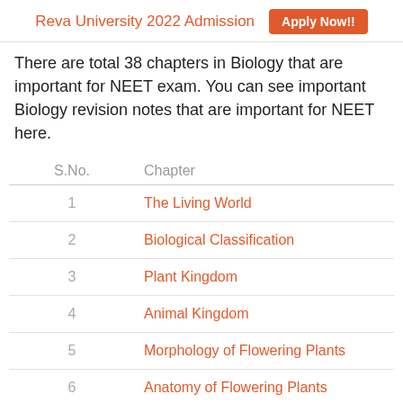Reva University 2022 Admission  Apply Now!!
There are total 38 chapters in Biology that are important for NEET exam. You can see important Biology revision notes that are important for NEET here.
| S.No. | Chapter |
| --- | --- |
| 1 | The Living World |
| 2 | Biological Classification |
| 3 | Plant Kingdom |
| 4 | Animal Kingdom |
| 5 | Morphology of Flowering Plants |
| 6 | Anatomy of Flowering Plants |
| 7 | Structural Organization In Animals |